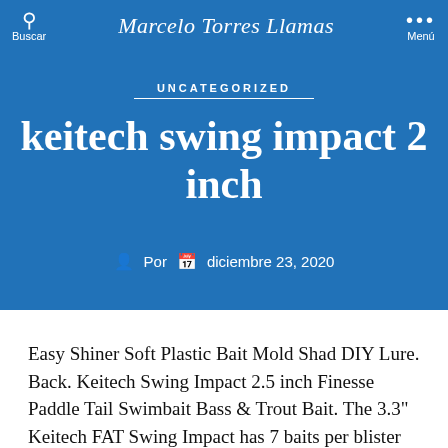Buscar | Marcelo Torres Llamas | Menú
UNCATEGORIZED
keitech swing impact 2 inch
Por  diciembre 23, 2020
Easy Shiner Soft Plastic Bait Mold Shad DIY Lure. Back. Keitech Swing Impact 2.5 inch Finesse Paddle Tail Swimbait Bass & Trout Bait. The 3.3" Keitech FAT Swing Impact has 7 baits per blister pack. To solve this problem, I rig it on a Size 1 Owner Twist Lock Finesse hook and create a keel